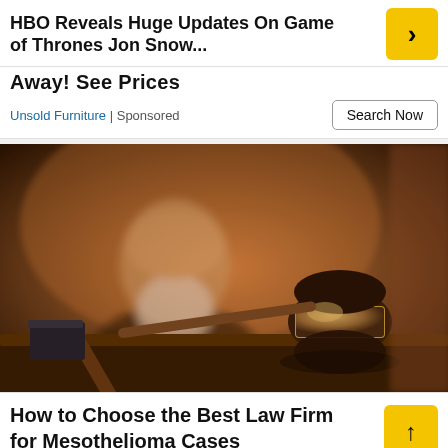HBO Reveals Huge Updates On Game of Thrones Jon Snow...
Away! See Prices
Unsold Furniture | Sponsored
[Figure (photo): A judge's gavel on a wooden surface with a blurred elderly bearded man in the background in a courtroom setting]
How to Choose the Best Law Firm for Mesothelioma Cases